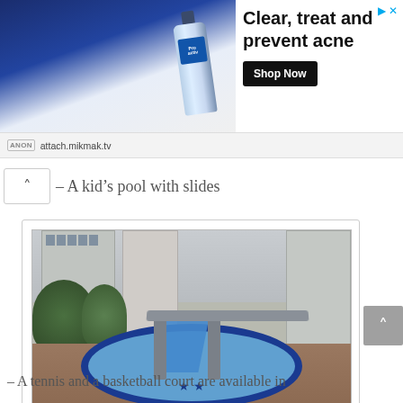[Figure (other): Advertisement banner for acne treatment product (Proactiv-style tube). Shows product image on left, headline 'Clear, treat and prevent acne', Shop Now button, and attach.mikmak.tv URL.]
– A kid's pool with slides
[Figure (photo): Outdoor kids' pool at Kalibata Green Palace apartment complex. Circular pool with blue star patterns, water slides, tall columns forming an arch, palm trees, and high-rise buildings in the background.]
Kids' Pool in Kalibata Green Palace
– A tennis and a basketball court are available in